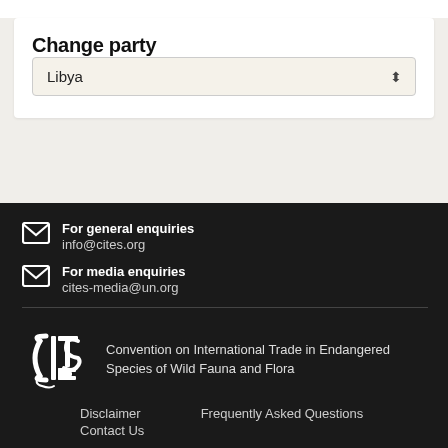Change party
Libya
For general enquiries
info@cites.org
For media enquiries
cites-media@un.org
Convention on International Trade in Endangered Species of Wild Fauna and Flora
Disclaimer
Frequently Asked Questions
Contact Us